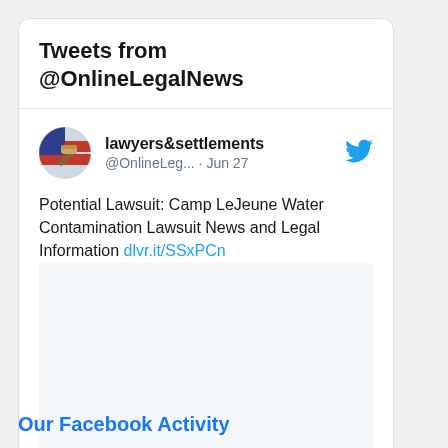Tweets from @OnlineLegalNews
lawyers&settlements @OnlineLeg... · Jun 27
Potential Lawsuit: Camp LeJeune Water Contamination Lawsuit News and Legal Information dlvr.it/SSxPCn
Our Facebook Activity